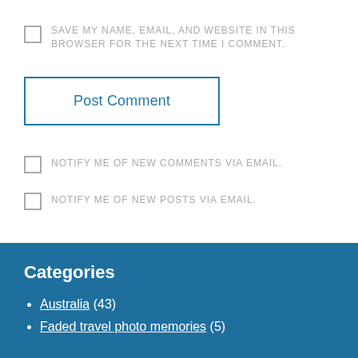SAVE MY NAME, EMAIL, AND WEBSITE IN THIS BROWSER FOR THE NEXT TIME I COMMENT.
Post Comment
NOTIFY ME OF NEW COMMENTS VIA EMAIL.
NOTIFY ME OF NEW POSTS VIA EMAIL.
Categories
Australia (43)
Faded travel photo memories (5)